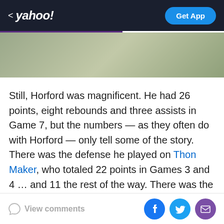< yahoo!   Get App
[Figure (photo): Green/olive gradient banner image area]
Still, Horford was magnificent. He had 26 points, eight rebounds and three assists in Game 7, but the numbers — as they often do with Horford — only tell some of the story. There was the defense he played on Thon Maker, who totaled 22 points in Games 3 and 4 … and 11 the rest of the way. There was the seamless transition he made to center (not his favorite spot) when Boston went small in its Game 5 win. There was the way he took charge in the second half Sunday, with Jaylen Brown out and the Bucks rallying, when Horford coolly knocked down three
View comments  [Facebook] [Twitter] [Email]